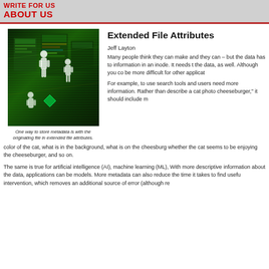WRITE FOR US
ABOUT US
[Figure (photo): Digital technology concept image showing glowing human silhouettes interacting with illuminated data screens and interface panels in green and multicolor tones on a dark background.]
One way to store metadata is with the originating file in extended file attributes.
Extended File Attributes
Jeff Layton
Many people think they can make and they can – but the data has to information in an inode. It needs t the data, as well. Although you co be more difficult for other applicat
For example, to use search tools and users need more information. Rather than describe a cat photo cheeseburger," it should include m color of the cat, what is in the background, what is on the cheesburg whether the cat seems to be enjoying the cheeseburger, and so on.
The same is true for artificial intelligence (AI), machine learning (ML), With more descriptive information about the data, applications can be models. More metadata can also reduce the time it takes to find usefu intervention, which removes an additional source of error (although re